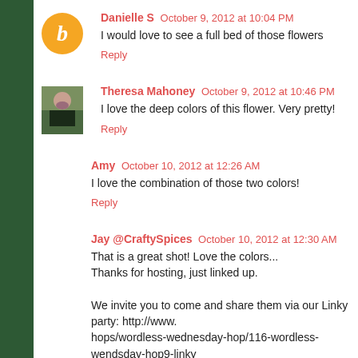Danielle S  October 9, 2012 at 10:04 PM
I would love to see a full bed of those flowers
Reply
Theresa Mahoney  October 9, 2012 at 10:46 PM
I love the deep colors of this flower. Very pretty!
Reply
Amy  October 10, 2012 at 12:26 AM
I love the combination of those two colors!
Reply
Jay @CraftySpices  October 10, 2012 at 12:30 AM
That is a great shot! Love the colors...
Thanks for hosting, just linked up.

We invite you to come and share them via our Linky party: http://www.hops/wordless-wednesday-hop/116-wordless-wendsday-hop9-linky
Happy Wednesday!!!!